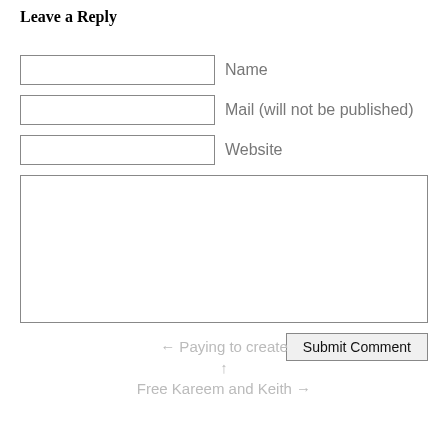Leave a Reply
Name
Mail (will not be published)
Website
Submit Comment
← Paying to create
↑
Free Kareem and Keith →